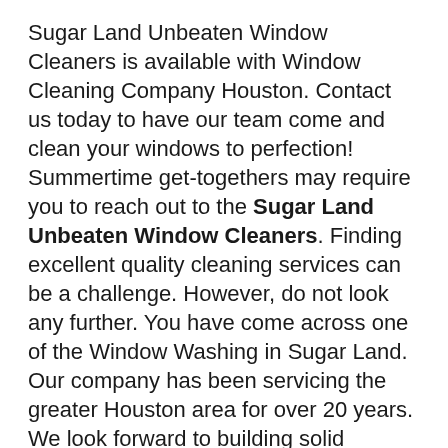Sugar Land Unbeaten Window Cleaners is available with Window Cleaning Company Houston. Contact us today to have our team come and clean your windows to perfection! Summertime get-togethers may require you to reach out to the Sugar Land Unbeaten Window Cleaners. Finding excellent quality cleaning services can be a challenge. However, do not look any further. You have come across one of the Window Washing in Sugar Land. Our company has been servicing the greater Houston area for over 20 years. We look forward to building solid relationships with you in the next decade.
There are a plethora of services that we can offer you. Our services are more than affordable, and we are ready to help. The integrity of your home is our top priority. Sugar Land Unbeaten Window Cleaners cares. Therefore, our team of highly trained professionals has the knowledge and skills. We are getting the job done right! The windows of